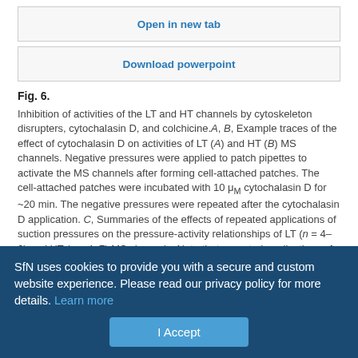Open in new tab
Download powerpoint
Fig. 6.
Inhibition of activities of the LT and HT channels by cytoskeleton disrupters, cytochalasin D, and colchicine. A, B, Example traces of the effect of cytochalasin D on activities of LT (A) and HT (B) MS channels. Negative pressures were applied to patch pipettes to activate the MS channels after forming cell-attached patches. The cell-attached patches were incubated with 10 μM cytochalasin D for ~20 min. The negative pressures were repeated after the cytochalasin D application. C, Summaries of the effects of repeated applications of suction pressures on the pressure-activity relationships of LT (n = 4–6) and HT (n = 4–7) MS channels. Note that repeated applications of suction pressures do not change the overall responses of the MS channels to pressures. D, Summaries of the effects of 10 μM cytochalasin D on the pressure responses of LT (n = 4–6) and HT (n =
SfN uses cookies to provide you with a secure and custom website experience. Please read our privacy policy for more details. Learn more
I Accept